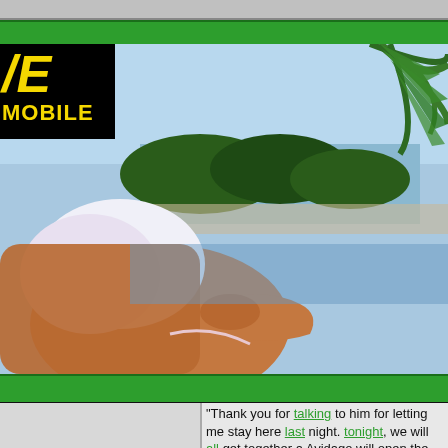[Figure (photo): Outdoor poolside scene with person in pink bikini sunbathing, palm fronds visible in upper right, blue sky and trees/water in background. Logo overlay top-left corner with VE MOBILE text in yellow on black background.]
"Thank you for talking to him for letting me stay here last night, tonight, we will all get together a Avidago will open the apartment, belongings," I said. "Meanwhile y your girlfriend to see if you can s "Thank you. I will," she said. "Ha